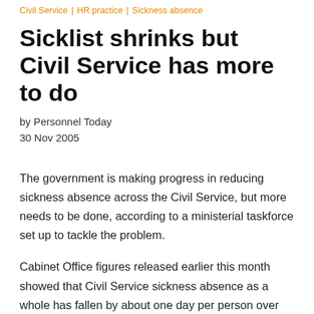Civil Service | HR practice | Sickness absence
Sicklist shrinks but Civil Service has more to do
by Personnel Today
30 Nov 2005
The government is making progress in reducing sickness absence across the Civil Service, but more needs to be done, according to a ministerial taskforce set up to tackle the problem.
Cabinet Office figures released earlier this month showed that Civil Service sickness absence as a whole has fallen by about one day per person over the past 12